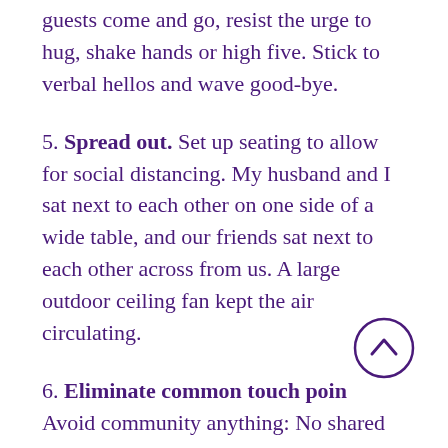guests come and go, resist the urge to hug, shake hands or high five. Stick to verbal hellos and wave good-bye.
5. Spread out. Set up seating to allow for social distancing. My husband and I sat next to each other on one side of a wide table, and our friends sat next to each other across from us. A large outdoor ceiling fan kept the air circulating.
6. Eliminate common touch points. Avoid community anything: No shared serving utensils, no passing condiment bottles or pitchers, and no buffets. For an appetizer, I cut up cheese cubes, and set them on a tray with olives, berries and sliced salami. Everyone had